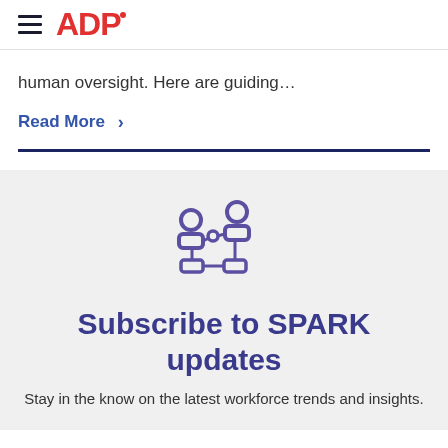ADP — Navigation header with hamburger menu and ADP logo
human oversight. Here are guiding…
Read More >
[Figure (illustration): Purple icon depicting people/workers with connection nodes, representing workforce or HR technology]
Subscribe to SPARK updates
Stay in the know on the latest workforce trends and insights.